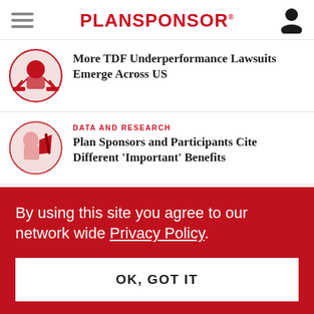PLANSPONSOR
More TDF Underperformance Lawsuits Emerge Across US
DATA AND RESEARCH
Plan Sponsors and Participants Cite Different 'Important' Benefits
COMPLIANCE
Managed Account Fees Challenged in Latest
By using this site you agree to our network wide Privacy Policy.
OK, GOT IT